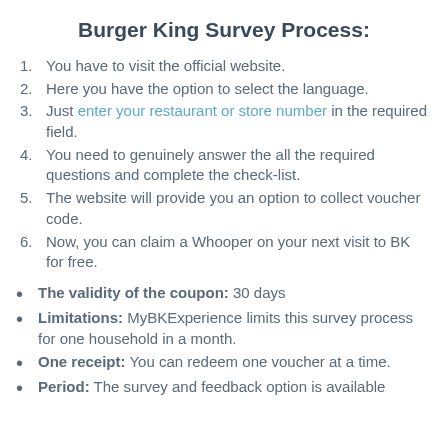Burger King Survey Process:
You have to visit the official website.
Here you have the option to select the language.
Just enter your restaurant or store number in the required field.
You need to genuinely answer the all the required questions and complete the check-list.
The website will provide you an option to collect voucher code.
Now, you can claim a Whooper on your next visit to BK for free.
The validity of the coupon: 30 days
Limitations: MyBKExperience limits this survey process for one household in a month.
One receipt: You can redeem one voucher at a time.
Period: The survey and feedback option is available